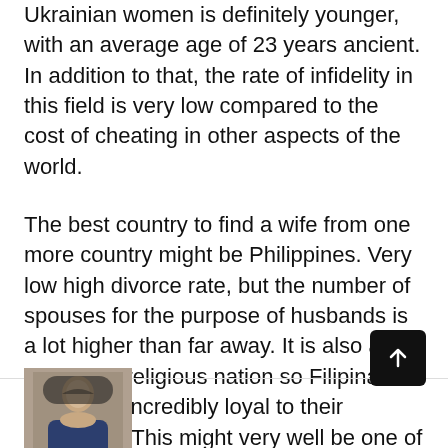Ukrainian women is definitely younger, with an average age of 23 years ancient. In addition to that, the rate of infidelity in this field is very low compared to the cost of cheating in other aspects of the world.
The best country to find a wife from one more country might be Philippines. Very low high divorce rate, but the number of spouses for the purpose of husbands is a lot higher than far away. It is also an extremely religious nation so Filipina ladies are incredibly loyal to their husbands. This might very well be one of the most challenging reasons why getting married to a Filipino is better than getting married to an Italian lady.
[Figure (photo): Small portrait photo of a man in a dark shirt, partially visible at bottom left of page]